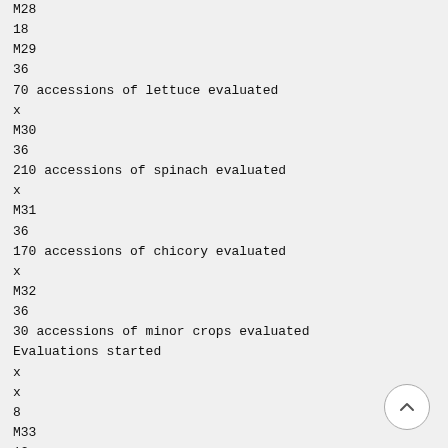M28
18
M29
36
70 accessions of lettuce evaluated
x
M30
36
210 accessions of spinach evaluated
x
M31
36
170 accessions of chicory evaluated
x
M32
36
30 accessions of minor crops evaluated
Evaluations started
x
x
8
M33
12
Material selected for utilization and marketing